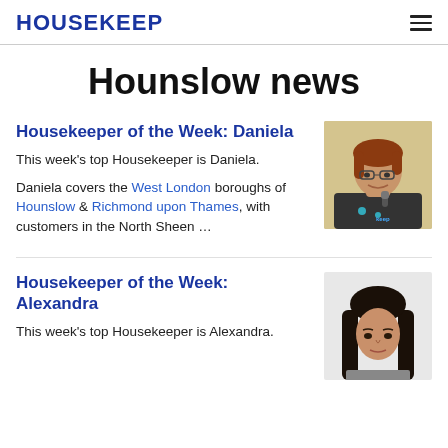HOUSEKEEP
Hounslow news
Housekeeper of the Week: Daniela
This week's top Housekeeper is Daniela.

Daniela covers the West London boroughs of Hounslow & Richmond upon Thames, with customers in the North Sheen …
[Figure (photo): Portrait photo of Daniela, a woman with red-brown hair and glasses wearing a dark Housekeep t-shirt, smiling and holding a microphone.]
Housekeeper of the Week: Alexandra
This week's top Housekeeper is Alexandra.
[Figure (photo): Portrait photo of Alexandra, a woman with long dark hair, partially visible at the bottom of the page.]